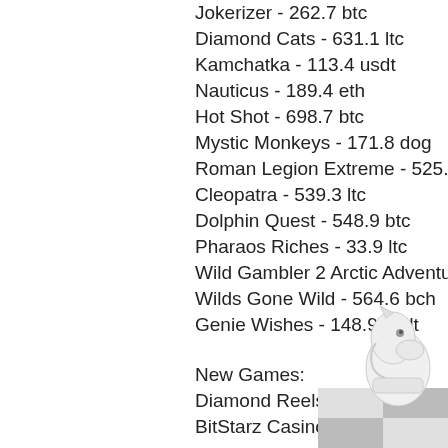Jokerizer - 262.7 btc
Diamond Cats - 631.1 ltc
Kamchatka - 113.4 usdt
Nauticus - 189.4 eth
Hot Shot - 698.7 btc
Mystic Monkeys - 171.8 dog
Roman Legion Extreme - 525.3 usdt
Cleopatra - 539.3 ltc
Dolphin Quest - 548.9 btc
Pharaos Riches - 33.9 ltc
Wild Gambler 2 Arctic Adventure - 271.5 btc
Wilds Gone Wild - 564.6 bch
Genie Wishes - 148.9 usdt
New Games:
Diamond Reels Casino Pink Panther
BitStarz Casino 5 Reel Bingo
mBTC free bet Mr Toxicus
CryptoWild Casino Halloween Horrors
BetChain Casino Battle of the Gods
Bitcasino.io Goblin's Cave